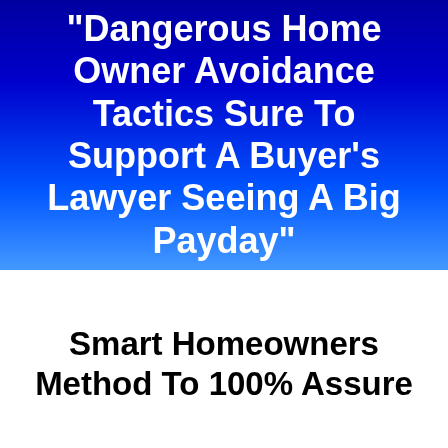"Dangerous Home Owner Avoidance Tactics Sure To Support A Buyer's Lawyer Seeing A Big Payday"
Smart Homeowners Method To 100% Assure